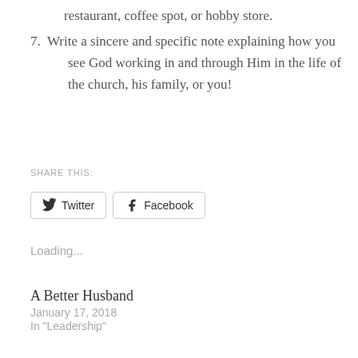restaurant, coffee spot, or hobby store.
7. Write a sincere and specific note explaining how you see God working in and through Him in the life of the church, his family, or you!
SHARE THIS:
Twitter Facebook
Loading...
A Better Husband
January 17, 2018
In "Leadership"